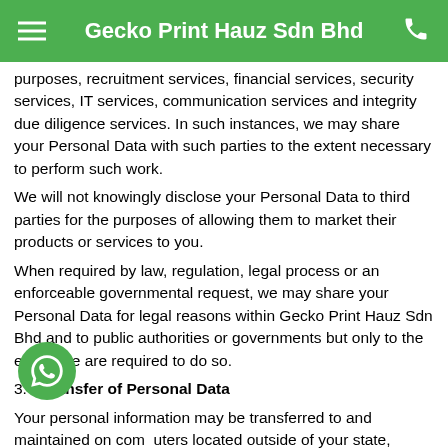Gecko Print Hauz Sdn Bhd
purposes, recruitment services, financial services, security services, IT services, communication services and integrity due diligence services. In such instances, we may share your Personal Data with such parties to the extent necessary to perform such work.
We will not knowingly disclose your Personal Data to third parties for the purposes of allowing them to market their products or services to you.
When required by law, regulation, legal process or an enforceable governmental request, we may share your Personal Data for legal reasons within Gecko Print Hauz Sdn Bhd and to public authorities or governments but only to the extent we are required to do so.
3. Transfer of Personal Data
Your personal information may be transferred to and maintained on computers located outside of your state, province, country or other governmental jurisdiction where the data protection laws may differ than those from your jurisdiction.
Your consent to the Privacy Statement followed by your